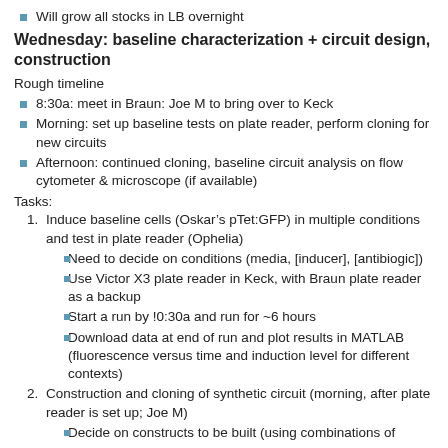Will grow all stocks in LB overnight
Wednesday: baseline characterization + circuit design, construction
Rough timeline
8:30a: meet in Braun: Joe M to bring over to Keck
Morning: set up baseline tests on plate reader, perform cloning for new circuits
Afternoon: continued cloning, baseline circuit analysis on flow cytometer & microscope (if available)
Tasks:
Induce baseline cells (Oskar’s pTet:GFP) in multiple conditions and test in plate reader (Ophelia)
Need to decide on conditions (media, [inducer], [antibiogic])
Use Victor X3 plate reader in Keck, with Braun plate reader as a backup
Start a run by !0:30a and run for ~6 hours
Download data at end of run and plot results in MATLAB (fluorescence versus time and induction level for different contexts)
Construction and cloning of synthetic circuit (morning, after plate reader is set up; Joe M)
Decide on constructs to be built (using combinations of